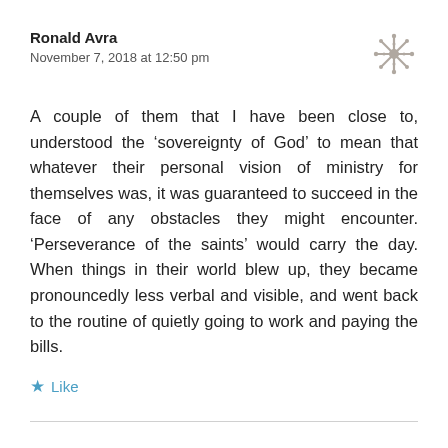Ronald Avra
November 7, 2018 at 12:50 pm
A couple of them that I have been close to, understood the 'sovereignty of God' to mean that whatever their personal vision of ministry for themselves was, it was guaranteed to succeed in the face of any obstacles they might encounter. 'Perseverance of the saints' would carry the day. When things in their world blew up, they became pronouncedly less verbal and visible, and went back to the routine of quietly going to work and paying the bills.
Like